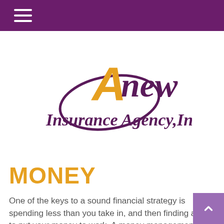Navigation menu (hamburger icon)
[Figure (logo): Anew Insurance Agency, Inc. logo with a stylized golden letter A and purple cursive text]
MONEY
One of the keys to a sound financial strategy is spending less than you take in, and then finding a way to put your money to work. A money management approach involves